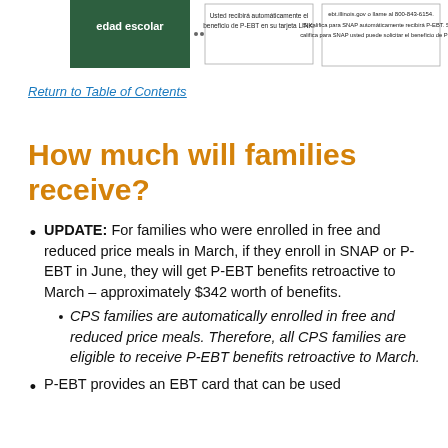[Figure (other): Top portion of an informational flowchart in Spanish about P-EBT benefits for school-age children, partially cropped. Shows dark green box with 'edad escolar' text, and two connected boxes with Spanish text about P-EBT benefits and LINK card.]
Return to Table of Contents
How much will families receive?
UPDATE: For families who were enrolled in free and reduced price meals in March, if they enroll in SNAP or P-EBT in June, they will get P-EBT benefits retroactive to March – approximately $342 worth of benefits.
CPS families are automatically enrolled in free and reduced price meals. Therefore, all CPS families are eligible to receive P-EBT benefits retroactive to March.
P-EBT provides an EBT card that can be used...